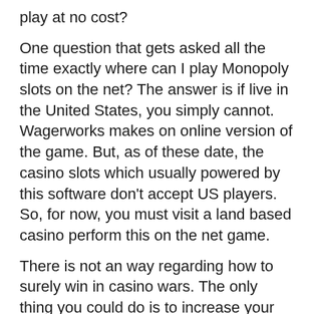play at no cost?
One question that gets asked all the time exactly where can I play Monopoly slots on the net? The answer is if live in the United States, you simply cannot. Wagerworks makes on online version of the game. But, as of these date, the casino slots which usually powered by this software don't accept US players. So, for now, you must visit a land based casino perform this on the net game.
There is not an way regarding how to surely win in casino wars. The only thing you could do is to increase your chances in productive. Here are some tips on how you can improve situs slot online terbaik the possibilities of winning big amounts in casino slot nodes.